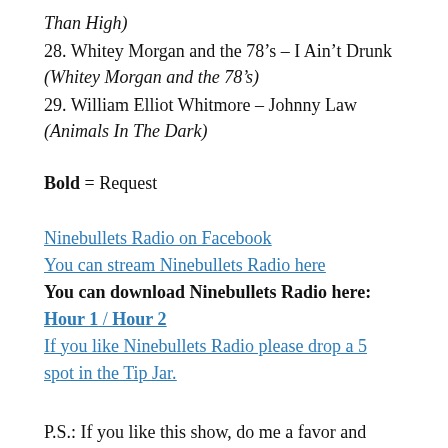Than High)
28. Whitey Morgan and the 78’s – I Ain’t Drunk (Whitey Morgan and the 78’s)
29. William Elliot Whitmore – Johnny Law (Animals In The Dark)
Bold = Request
Ninebullets Radio on Facebook
You can stream Ninebullets Radio here
You can download Ninebullets Radio here:
Hour 1 / Hour 2
If you like Ninebullets Radio please drop a 5 spot in the Tip Jar.
P.S.: If you like this show, do me a favor and